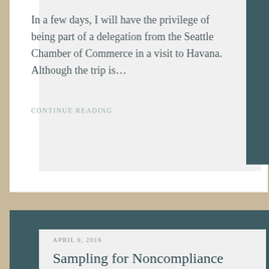In a few days, I will have the privilege of being part of a delegation from the Seattle Chamber of Commerce in a visit to Havana.  Although the trip is…
CONTINUE READING
APRIL 6, 2016
Sampling for Noncompliance